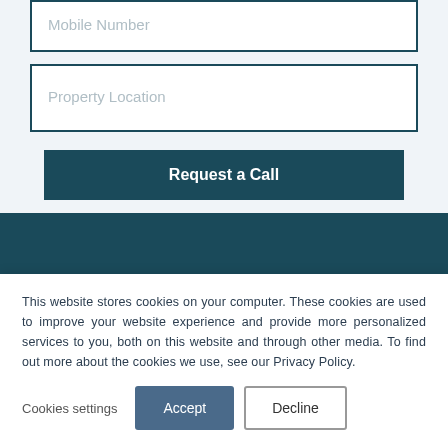[Figure (screenshot): Form input field with placeholder text 'Mobile Number']
[Figure (screenshot): Form input field with placeholder text 'Property Location']
[Figure (screenshot): Dark teal button labeled 'Request a Call']
[Figure (screenshot): Dark teal footer band with partially visible logo text]
This website stores cookies on your computer. These cookies are used to improve your website experience and provide more personalized services to you, both on this website and through other media. To find out more about the cookies we use, see our Privacy Policy.
Cookies settings
Accept
Decline